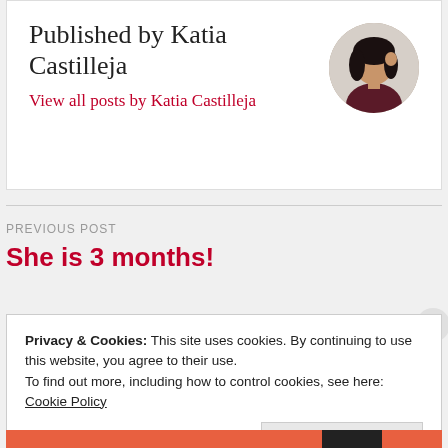Published by Katia Castilleja
View all posts by Katia Castilleja
[Figure (photo): Circular avatar photo of Katia Castilleja, a woman in a dark maroon top]
PREVIOUS POST
She is 3 months!
Privacy & Cookies: This site uses cookies. By continuing to use this website, you agree to their use.
To find out more, including how to control cookies, see here: Cookie Policy
Close and accept